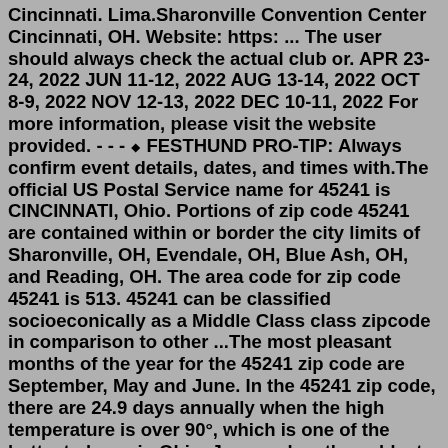Cincinnati. Lima.Sharonville Convention Center Cincinnati, OH. Website: https: ... The user should always check the actual club or. APR 23-24, 2022 JUN 11-12, 2022 AUG 13-14, 2022 OCT 8-9, 2022 NOV 12-13, 2022 DEC 10-11, 2022 For more information, please visit the website provided. - - - ⬥ FESTHUND PRO-TIP: Always confirm event details, dates, and times with.The official US Postal Service name for 45241 is CINCINNATI, Ohio. Portions of zip code 45241 are contained within or border the city limits of Sharonville, OH, Evendale, OH, Blue Ash, OH, and Reading, OH. The area code for zip code 45241 is 513. 45241 can be classified socioeconically as a Middle Class class zipcode in comparison to other ...The most pleasant months of the year for the 45241 zip code are September, May and June. In the 45241 zip code, there are 24.9 days annually when the high temperature is over 90°, which is one of the hottest places in Ohio. January has the coldest nighttime temperatures for the 45241 zip code with an average of 21.0°.Sharonville Convention Center Cincinnati.